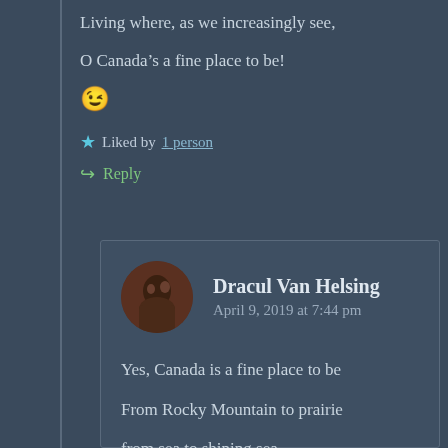Living where, as we increasingly see,
O Canada’s a fine place to be!
😉
Liked by 1 person
Reply
Dracul Van Helsing
April 9, 2019 at 7:44 pm
Yes, Canada is a fine place to be
From Rocky Mountain to prairie
from sea to shining sea.